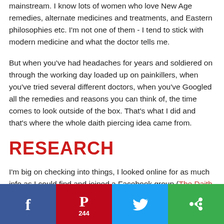I'm a bit of a skeptic when it comes to anything that's a bit out of mainstream. I know lots of women who love New Age remedies, alternate medicines and treatments, and Eastern philosophies etc. I'm not one of them - I tend to stick with modern medicine and what the doctor tells me.
But when you've had headaches for years and soldiered on through the working day loaded up on painkillers, when you've tried several different doctors, when you've Googled all the remedies and reasons you can think of, the time comes to look outside of the box. That's what I did and that's where the whole daith piercing idea came from.
RESEARCH
I'm big on checking into things, I looked online for as much info as I could find and joined a Facebook group (The Daith Club
[Figure (infographic): Social sharing bar with four buttons: Facebook (blue), Pinterest (red, 244 shares), Twitter (light blue), More/share (green)]